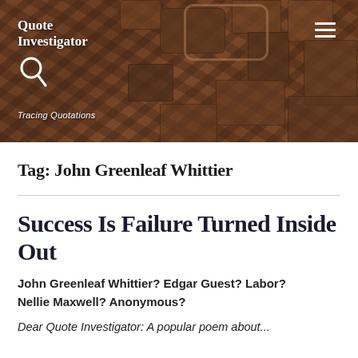[Figure (photo): Website banner header for Quote Investigator showing a background of vintage wooden letterpress type blocks in brown/rust tones. The logo shows 'Quote Investigator' text with a magnifying glass icon and tagline 'Tracing Quotations'. A hamburger menu icon appears in the top right.]
Tag: John Greenleaf Whittier
Success Is Failure Turned Inside Out
John Greenleaf Whittier? Edgar Guest? Labor? Nellie Maxwell? Anonymous?
Dear Quote Investigator: A popular poem about...